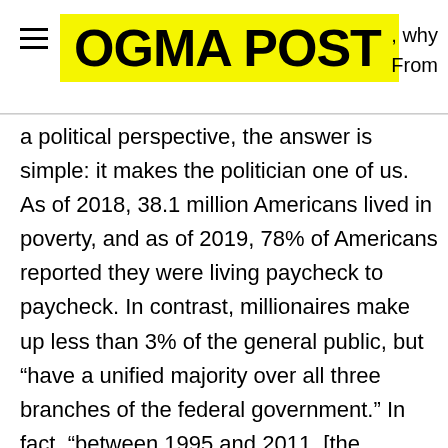OGMA POST
a political perspective, the answer is simple: it makes the politician one of us. As of 2018, 38.1 million Americans lived in poverty, and as of 2019, 78% of Americans reported they were living paycheck to paycheck. In contrast, millionaires make up less than 3% of the general public, but “have a unified majority over all three branches of the federal government.” In fact, “between 1995 and 2011, [the working class] made up just 4% of the candidates running for county and local office.” Now, no one is saying that a janitor or waitress has the qualifications to run for governor, but there is a pretty clear trend that those